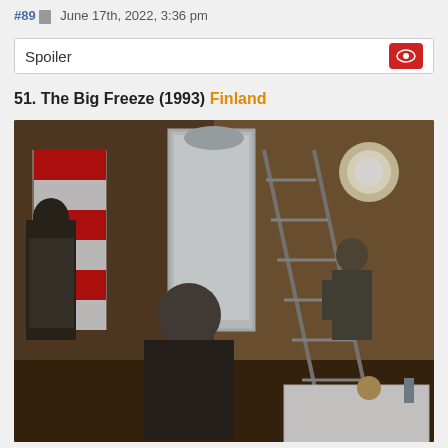#89  June 17th, 2022, 3:36 pm
Spoiler
51. The Big Freeze (1993) Finland
[Figure (photo): A dark interior room scene showing two people, one standing near a window holding a ladder, another person (bald, in dark suit) facing away toward the ladder. A flag with red and white stripes hangs on the left wall. A bright circular light is visible on the upper right wall. A white surface (possibly a bathtub or table) is in the lower right area.]